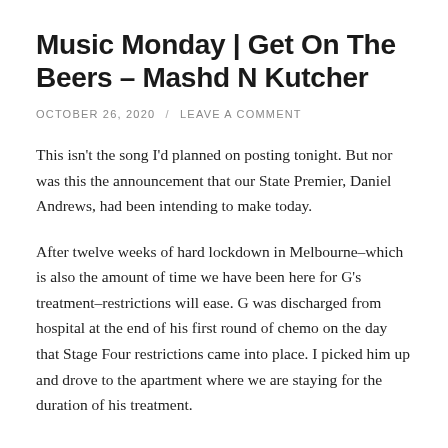Music Monday | Get On The Beers – Mashd N Kutcher
OCTOBER 26, 2020 / LEAVE A COMMENT
This isn't the song I'd planned on posting tonight. But nor was this the announcement that our State Premier, Daniel Andrews, had been intending to make today.
After twelve weeks of hard lockdown in Melbourne–which is also the amount of time we have been here for G's treatment–restrictions will ease. G was discharged from hospital at the end of his first round of chemo on the day that Stage Four restrictions came into place. I picked him up and drove to the apartment where we are staying for the duration of his treatment.